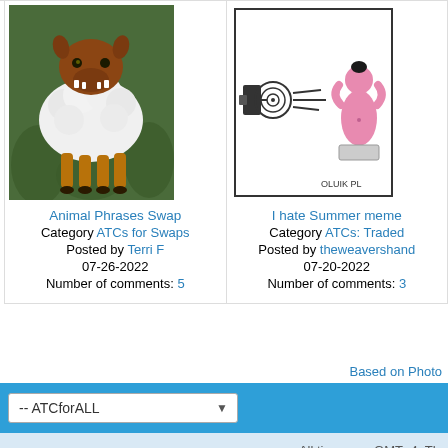[Figure (illustration): Painting of a creature dressed as a sheep (wolf in sheep's clothing) with a brown head showing teeth, white woolly body, brown legs, standing in green foliage background.]
Animal Phrases Swap
Category ATCs for Swaps
Posted by Terri F
07-26-2022
Number of comments: 5
[Figure (illustration): Cartoon/sketch drawing of a figure being blown by a fan/speaker device, with a pink female figure on the right side, in a box frame. Signed 'OLUIK PL'.]
I hate Summer meme
Category ATCs: Traded
Posted by theweavershand
07-20-2022
Number of comments: 3
Based on Photo
-- ATCforALL
All times are GMT -4. Th
Powered by vBull
Copyright © 2022 vBulletin So